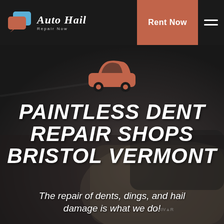[Figure (logo): Auto Hail Repair Now logo with car chat bubble icons and italic script text]
Rent Now
[Figure (photo): Dark background photo of the rear of a car on a road, used as hero background]
[Figure (illustration): Orange car silhouette icon centered above the hero title]
PAINTLESS DENT REPAIR SHOPS BRISTOL VERMONT
The repair of dents, dings, and hail damage is what we do!